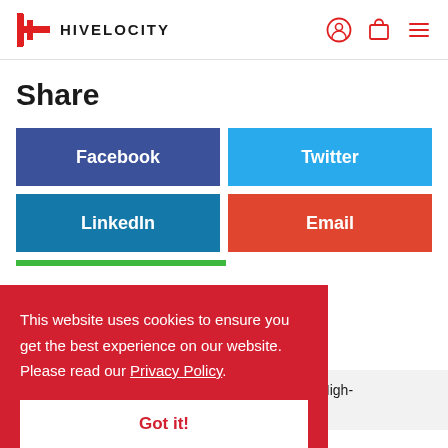HIVELOCITY
Share
Facebook
Twitter
LinkedIn
Email
This website uses cookies to ensure you get the best experience on our website. Please read our Privacy Policy.
Got it!
ogies for High-cture